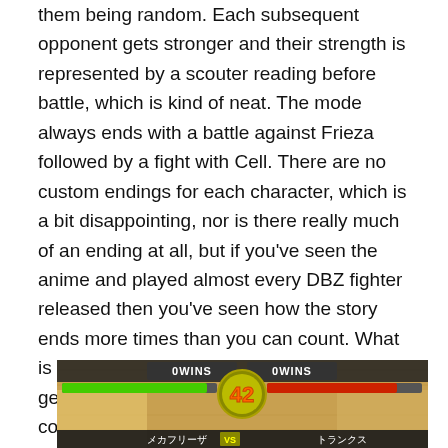them being random. Each subsequent opponent gets stronger and their strength is represented by a scouter reading before battle, which is kind of neat. The mode always ends with a battle against Frieza followed by a fight with Cell. There are no custom endings for each character, which is a bit disappointing, nor is there really much of an ending at all, but if you've seen the anime and played almost every DBZ fighter released then you've seen how the story ends more times than you can count. What is interesting is that after each victory you get one of the titular dragon balls. By collecting all seven, you can summon Shenron and make a wish. This is how you get additional characters, and also how you improve your existing ones.
[Figure (screenshot): Screenshot of a Dragon Ball Z fighting game showing a versus screen with '0 WINS' displayed on both sides, a large '42' in the center circle, two yellow health bars, and Japanese character names at the bottom (Mecha Frieza on left, Trunks on right).]